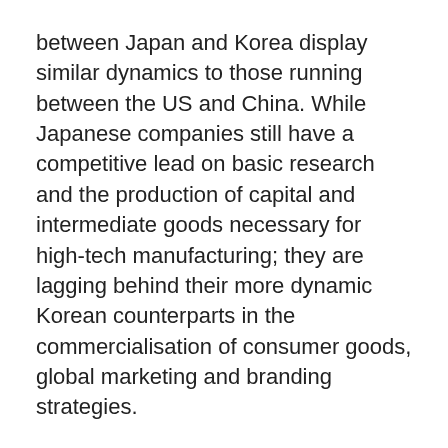between Japan and Korea display similar dynamics to those running between the US and China. While Japanese companies still have a competitive lead on basic research and the production of capital and intermediate goods necessary for high-tech manufacturing; they are lagging behind their more dynamic Korean counterparts in the commercialisation of consumer goods, global marketing and branding strategies.
Korean electronics giants like Samsung and LG have overtaken Japanese multinationals like Sony, Panasonic and Toshiba in the international markets and compete for leadership against Apple and Huawei while using Japanese intermediary goods. This could become a matter of national pride for Japan.